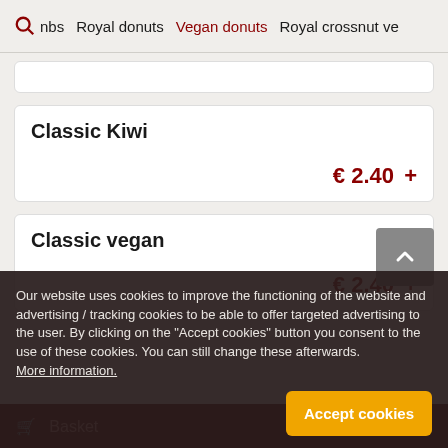nbs  Royal donuts  Vegan donuts  Royal crossnut ve
Classic Kiwi
€ 2.40 +
Classic vegan
€ 2.40 +
Our website uses cookies to improve the functioning of the website and advertising / tracking cookies to be able to offer targeted advertising to the user. By clicking on the "Accept cookies" button you consent to the use of these cookies. You can still change these afterwards. More information.